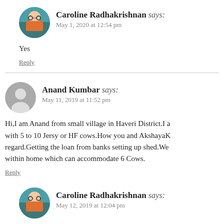Caroline Radhakrishnan says:
May 1, 2020 at 12:54 pm
Yes
Reply
Anand Kumbar says:
May 11, 2019 at 11:52 pm
Hi,I am Anand from small village in Haveri District.I am planning to start dairy farming with 5 to 10 Jersy or HF cows.How you and AkshayaK regard.Getting the loan from banks setting up shed.We within home which can accommodate 6 Cows.
Reply
Caroline Radhakrishnan says:
May 12, 2019 at 12:04 pm